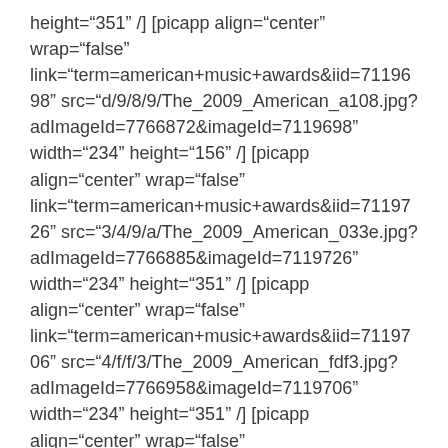height="351" /] [picapp align="center" wrap="false" link="term=american+music+awards&iid=7119698" src="d/9/8/9/The_2009_American_a108.jpg?adImageId=7766872&imageId=7119698" width="234" height="156" /] [picapp align="center" wrap="false" link="term=american+music+awards&iid=7119726" src="3/4/9/a/The_2009_American_033e.jpg?adImageId=7766885&imageId=7119726" width="234" height="351" /] [picapp align="center" wrap="false" link="term=american+music+awards&iid=7119706" src="4/f/f/3/The_2009_American_fdf3.jpg?adImageId=7766958&imageId=7119706" width="234" height="351" /] [picapp align="center" wrap="false" link="term=american+music+awards&iid=7119704" src="7/5/0/9/The_2009_American_b756.jpg?adImageId=7766964&imageId=7119704" width="234"